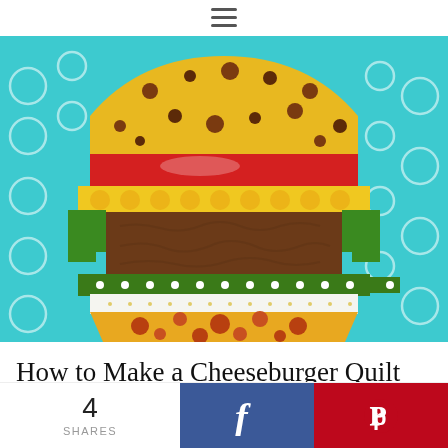[Figure (photo): A quilt block designed to look like a cheeseburger, made from colorful patterned fabric pieces on a teal/turquoise background with circle patterns. The burger layers include: a yellow spotted top bun, red tomato strip, yellow cheese strip with circles, green lettuce pieces, brown patty fabric, green dotted pickle strip, white onion strip, and yellow spotted bottom bun.]
How to Make a Cheeseburger Quilt Block
4
SHARES